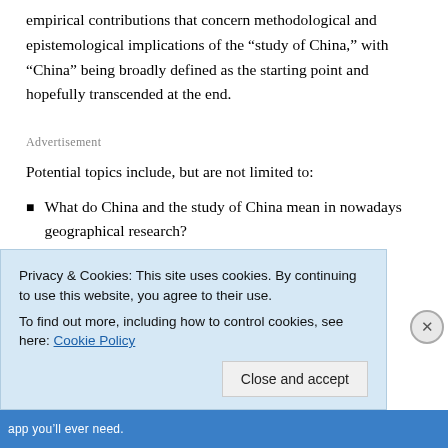empirical contributions that concern methodological and epistemological implications of the “study of China,” with “China” being broadly defined as the starting point and hopefully transcended at the end.
Advertisement
Potential topics include, but are not limited to:
What do China and the study of China mean in nowadays geographical research?
How can China be studied more than a subject...
Privacy & Cookies: This site uses cookies. By continuing to use this website, you agree to their use.
To find out more, including how to control cookies, see here: Cookie Policy
Close and accept